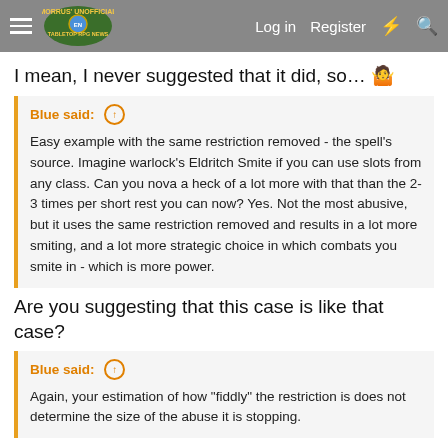Morrus' Unofficial Tabletop RPG News — Log in  Register
I mean, I never suggested that it did, so… 🤷
Blue said: ↑
Easy example with the same restriction removed - the spell's source. Imagine warlock's Eldritch Smite if you can use slots from any class. Can you nova a heck of a lot more with that than the 2-3 times per short rest you can now? Yes. Not the most abusive, but it uses the same restriction removed and results in a lot more smiting, and a lot more strategic choice in which combats you smite in - which is more power.
Are you suggesting that this case is like that case?
Blue said: ↑
Again, your estimation of how "fiddly" the restriction is does not determine the size of the abuse it is stopping.
Okay. This isn't a case of abuse, so it really doesn't matter.